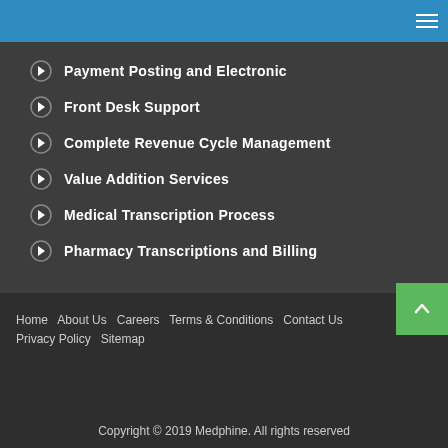Navigation menu header bar
Payment Posting and Electronic
Front Desk Support
Complete Revenue Cycle Management
Value Addition Services
Medical Transcription Process
Pharmacy Transcriptions and Billing
Home   About Us   Careers   Terms & Conditions   Contact Us   Privacy Policy   Sitemap
Copyright © 2019 Medphine. All rights reserved